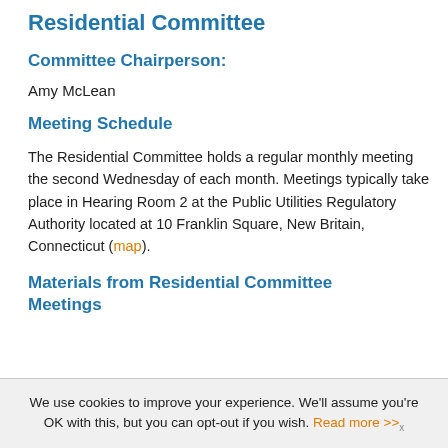Residential Committee
Committee Chairperson:
Amy McLean
Meeting Schedule
The Residential Committee holds a regular monthly meeting the second Wednesday of each month. Meetings typically take place in Hearing Room 2 at the Public Utilities Regulatory Authority located at 10 Franklin Square, New Britain, Connecticut (map).
Materials from Residential Committee Meetings
We use cookies to improve your experience. We'll assume you're OK with this, but you can opt-out if you wish. Read more >>